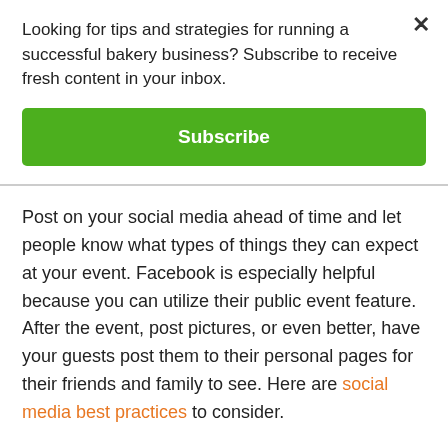Looking for tips and strategies for running a successful bakery business? Subscribe to receive fresh content in your inbox.
Subscribe
Post on your social media ahead of time and let people know what types of things they can expect at your event. Facebook is especially helpful because you can utilize their public event feature. After the event, post pictures, or even better, have your guests post them to their personal pages for their friends and family to see. Here are social media best practices to consider.
For large in-store events consider using a series of emails to generate buzz. This will increase the chances